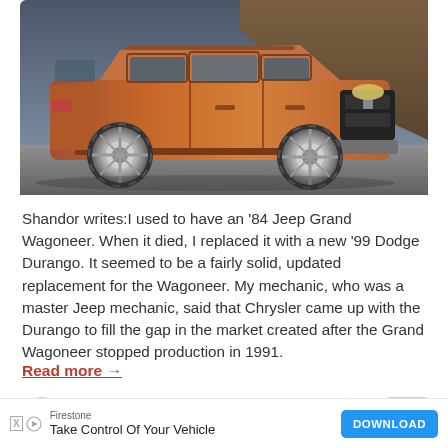[Figure (photo): A copper/bronze colored Dodge Durango SUV parked on a road with a rocky hillside and dark sky in the background.]
Shandor writes:I used to have an '84 Jeep Grand Wagoneer. When it died, I replaced it with a new '99 Dodge Durango. It seemed to be a fairly solid, updated replacement for the Wagoneer. My mechanic, who was a master Jeep mechanic, said that Chrysler came up with the Durango to fill the gap in the market created after the Grand Wagoneer stopped production in 1991.
Read more →
Sajeev Mehta  Dec 31, 2015
34
Firestone
Take Control Of Your Vehicle
DOWNLOAD